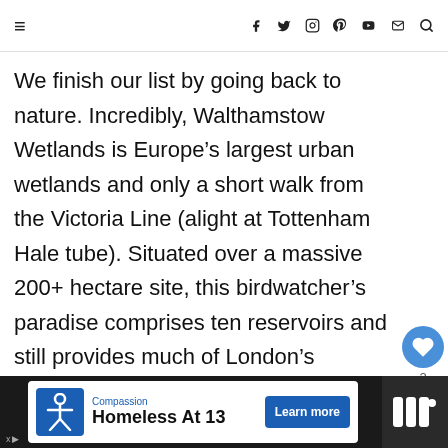≡  f  🐦  📷  ⊕  ▶  ✉  🔍
We finish our list by going back to nature. Incredibly, Walthamstow Wetlands is Europe's largest urban wetlands and only a short walk from the Victoria Line (alight at Tottenham Hale tube). Situated over a massive 200+ hectare site, this birdwatcher's paradise comprises ten reservoirs and still provides much of London's drinking water to this day.
[Figure (other): What's Next widget with Jonker Street Night Market thumbnail and text]
[Figure (other): Advertisement banner: Compassion - Homeless At 13 with Learn more button]